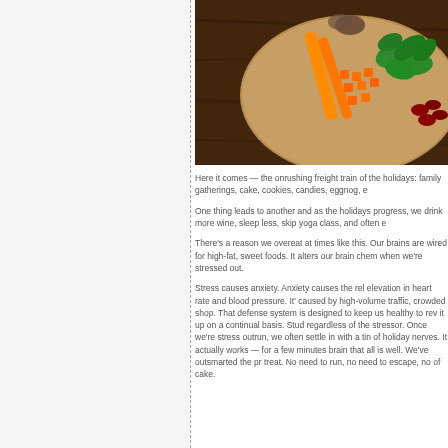[Figure (photo): Overhead photo of a wooden board with carrots, chopped vegetables (orange cubes), green leafy vegetables (spinach/basil), red kidney beans on a dark wood background]
Here it comes — the onrushing freight train of the holidays: family gatherings, cake, cookies, candies, eggnog, e
One thing leads to another and as the holidays progress, we drink more wine, sleep less, skip yoga class, and often e
There's a reason we overeat at times like this. Our brains are wired for high-fat, sweet foods. It alters our brain chemistry when we're stressed out.
Stress causes anxiety. Anxiety causes the release of adrenaline, and elevation in heart rate and blood pressure. It's a defense system usually caused by high-volume traffic, crowded shops. That defense system is designed to keep us healthy to rev it up on a continual basis. Studies show that regardless of the stressor. Once we're stressed — faced with something to outrun, we often settle in with a tin of holiday cookies to calm our nerves. It actually works — for a few minutes — telling the primitive brain that all is well. We've outsmarted the predator with a treat. No need to run, no need to escape, no of cake.